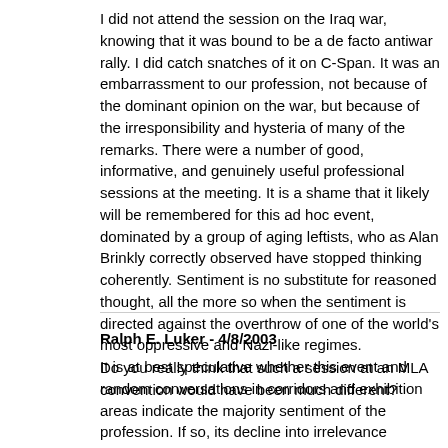I did not attend the session on the Iraq war, knowing that it was bound to be a de facto antiwar rally. I did catch snatches of it on C-Span. It was an embarrassment to our profession, not because of the dominant opinion on the war, but because of the irresponsibility and hysteria of many of the remarks. There were a number of good, informative, and genuinely useful professional sessions at the meeting. It is a shame that it likely will be remembered for this ad hoc event, dominated by a group of aging leftists, who as Alan Brinkly correctly observed have stopped thinking coherently. Sentiment is no substitute for reasoned thought, all the more so when the sentiment is directed against the overthrow of one of the world's most oppressive and Nazi-like regimes.
It is at best speculative whether this event and random conversations in corridors and exhibition areas indicate the majority sentiment of the profession. If so, its decline into irrelevance continues apace.
Ralph E. Luker - 4/8/2003
Do you really think that such a session at an MLA convention would have been much different?